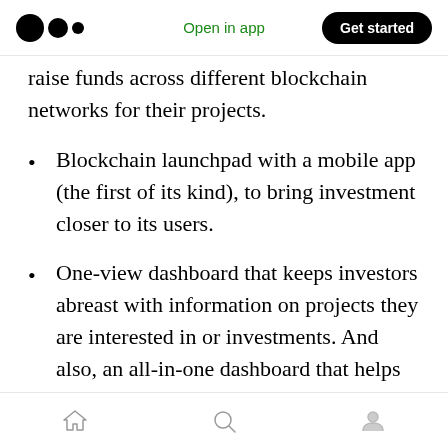Open in app | Get started
raise funds across different blockchain networks for their projects.
Blockchain launchpad with a mobile app (the first of its kind), to bring investment closer to its users.
One-view dashboard that keeps investors abreast with information on projects they are interested in or investments. And also, an all-in-one dashboard that helps investors with complex calculations of products.
With the Anti-Rug, investors are protected
Home | Search | Profile